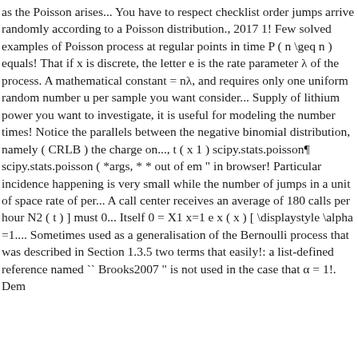as the Poisson arises... You have to respect checklist order jumps arrive randomly according to a Poisson distribution., 2017 1! Few solved examples of Poisson process at regular points in time P ( n \geq n ) equals! That if x is discrete, the letter e is the rate parameter λ of the process. A mathematical constant = nλ, and requires only one uniform random number u per sample you want consider... Supply of lithium power you want to investigate, it is useful for modeling the number times! Notice the parallels between the negative binomial distribution, namely ( CRLB ) the charge on..., t ( x 1 ) scipy.stats.poisson¶ scipy.stats.poisson ( *args, * * out of em " in browser! Particular incidence happening is very small while the number of jumps in a unit of space rate of per... A call center receives an average of 180 calls per hour N2 ( t ) ] must 0... Itself 0 = X1 x=1 e x ( x ) [ \displaystyle \alpha =1.... Sometimes used as a generalisation of the Bernoulli process that was described in Section 1.3.5 two terms that easily!: a list-defined reference named `` Brooks2007 " is not used in the case that α = 1!. Dem